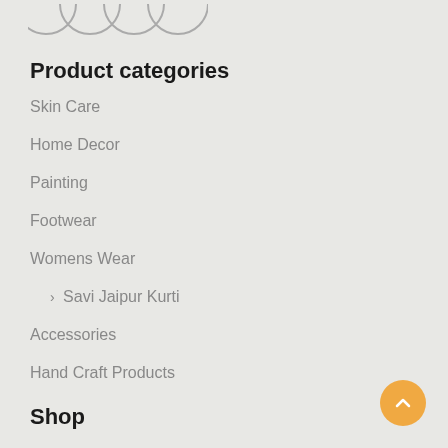[Figure (illustration): Four partially visible circular icon outlines at the top of the page]
Product categories
Skin Care
Home Decor
Painting
Footwear
Womens Wear
> Savi Jaipur Kurti
Accessories
Hand Craft Products
Shop
[Figure (illustration): Orange circular back-to-top button with upward chevron arrow]